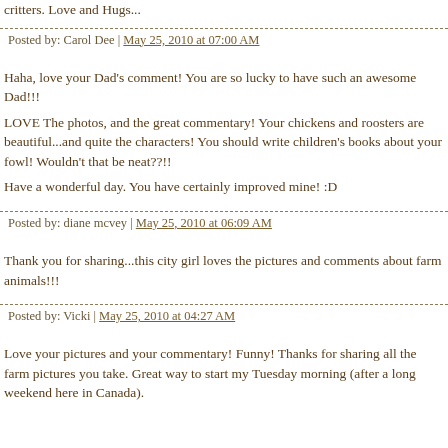critters. Love and Hugs...
Posted by: Carol Dee | May 25, 2010 at 07:00 AM
Haha, love your Dad's comment! You are so lucky to have such an awesome Dad!!! LOVE The photos, and the great commentary! Your chickens and roosters are beautiful...and quite the characters! You should write children's books about your fowl! Wouldn't that be neat??!! Have a wonderful day. You have certainly improved mine! :D
Posted by: diane mcvey | May 25, 2010 at 06:09 AM
Thank you for sharing...this city girl loves the pictures and comments about farm animals!!!
Posted by: Vicki | May 25, 2010 at 04:27 AM
Love your pictures and your commentary! Funny! Thanks for sharing all the farm pictures you take. Great way to start my Tuesday morning (after a long weekend here in Canada).